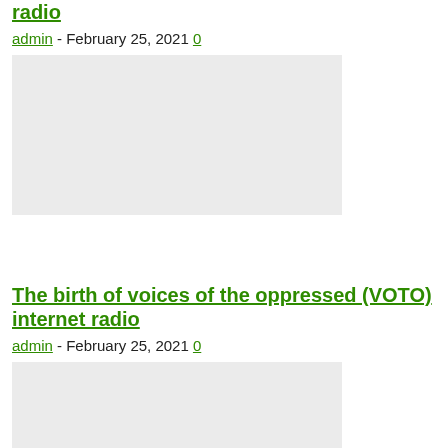radio
admin - February 25, 2021 0
[Figure (other): Gray placeholder image box]
The birth of voices of the oppressed (VOTO) internet radio
admin - February 25, 2021 0
[Figure (other): Gray placeholder image box]